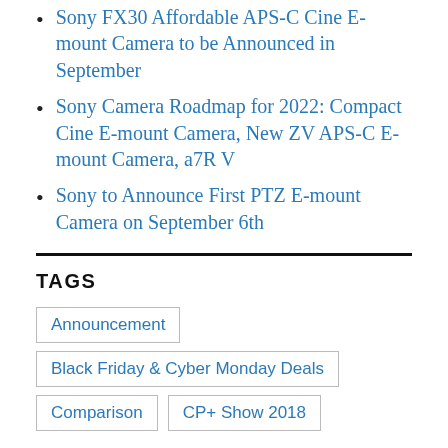Sony FX30 Affordable APS-C Cine E-mount Camera to be Announced in September
Sony Camera Roadmap for 2022: Compact Cine E-mount Camera, New ZV APS-C E-mount Camera, a7R V
Sony to Announce First PTZ E-mount Camera on September 6th
TAGS
Announcement
Black Friday & Cyber Monday Deals
Comparison
CP+ Show 2018